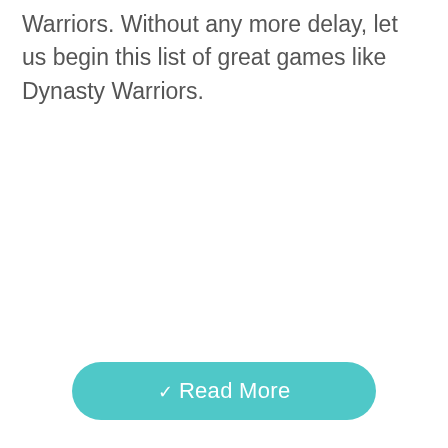Warriors. Without any more delay, let us begin this list of great games like Dynasty Warriors.
Read More